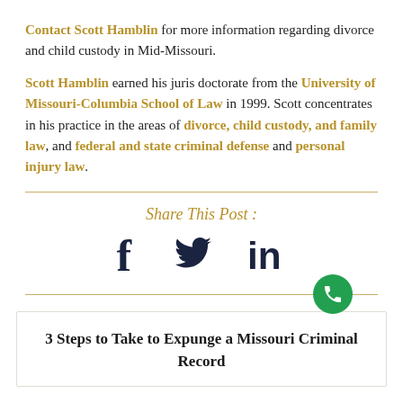Contact Scott Hamblin for more information regarding divorce and child custody in Mid-Missouri.
Scott Hamblin earned his juris doctorate from the University of Missouri-Columbia School of Law in 1999. Scott concentrates in his practice in the areas of divorce, child custody, and family law, and federal and state criminal defense and personal injury law.
Share This Post :
[Figure (infographic): Social media share icons: Facebook, Twitter, LinkedIn in dark navy color, and a green phone/call button circle on the right side of the divider line.]
3 Steps to Take to Expunge a Missouri Criminal Record